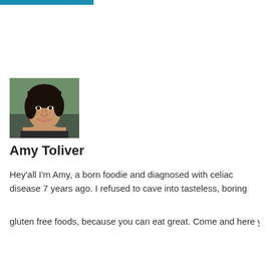[Figure (photo): Blue button/bar element at top of page]
[Figure (photo): Portrait photo of Amy Toliver, a woman with dark hair, smiling, outdoors background]
Amy Toliver
Hey'all I'm Amy, a born foodie and diagnosed with celiac disease 7 years ago. I refused to cave into tasteless, boring